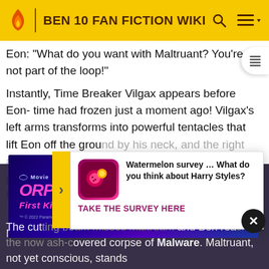BEN 10 FAN FICTION WIKI
Eon: "What do you want with Maltruant? You're not part of the loop!"
Instantly, Time Breaker Vilgax appears before Eon- time had frozen just a moment ago! Vilgax's left arms transforms into powerful tentacles that lift Eon off the ground by his neck, and the right arm catches the orbe as it falls to the ground and places it in its armor gap. Ben and Rook are frozen in time. Meanwhile, Time Breaker Maltruant's lair.
[Figure (screenshot): Watermelon survey popup ad: 'Watermelon survey ... What do you think about Harry Styles? TAKE THE SURVEY HERE' with app icon]
[Figure (photo): Paramount+ movie ad for 'Orphan: First Kill' - streaming on Paramount+, Try It Free]
The cut body of Malware covered corpse of Malware. Maltruant, not yet conscious, stands